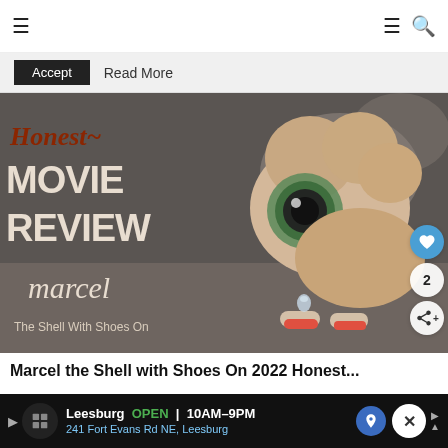≡  ≡ 🔍
Accept  Read More
[Figure (photo): Movie review thumbnail showing Marcel the Shell character — a small shell with a googly eye and tiny red shoes, with text overlay: 'Honest~ MOVIE REVIEW marcel The Shell With Shoes On'. Heart icon, share icon, and number 2 visible on side.]
Marcel the Shell with Shoes On 2022 Honest...
Leesburg  OPEN  10AM–9PM  241 Fort Evans Rd NE, Leesburg